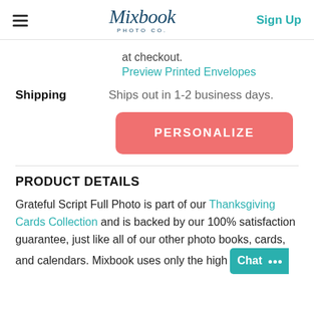Mixbook PHOTO CO. | Sign Up
at checkout.
Preview Printed Envelopes
Shipping   Ships out in 1-2 business days.
PERSONALIZE
PRODUCT DETAILS
Grateful Script Full Photo is part of our Thanksgiving Cards Collection and is backed by our 100% satisfaction guarantee, just like all of our other photo books, cards, and calendars. Mixbook uses only the high